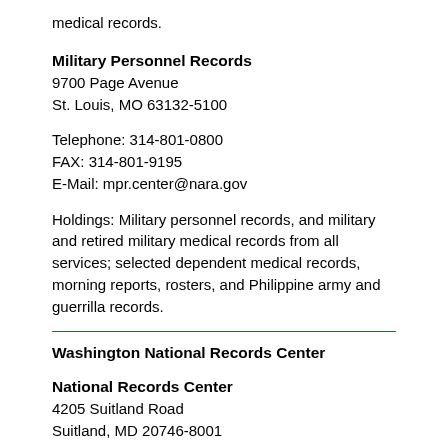medical records.
Military Personnel Records
9700 Page Avenue
St. Louis, MO 63132-5100
Telephone: 314-801-0800
FAX: 314-801-9195
E-Mail: mpr.center@nara.gov
Holdings: Military personnel records, and military and retired military medical records from all services; selected dependent medical records, morning reports, rosters, and Philippine army and guerrilla records.
Washington National Records Center
National Records Center
4205 Suitland Road
Suitland, MD 20746-8001